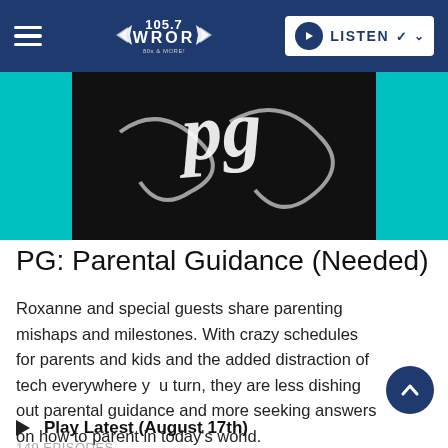105.7 WROR — LISTEN
[Figure (photo): Black and white decorative graphic with stylized cursive lettering on black background with teal/cyan side panels — podcast artwork]
PG: Parental Guidance (Needed)
Roxanne and special guests share parenting mishaps and milestones. With crazy schedules for parents and kids and the added distraction of tech everywhere you turn, they are less dishing out parental guidance and more seeking answers on how to parent in today's world.
Play Latest (August 17th)
149 EPISODES